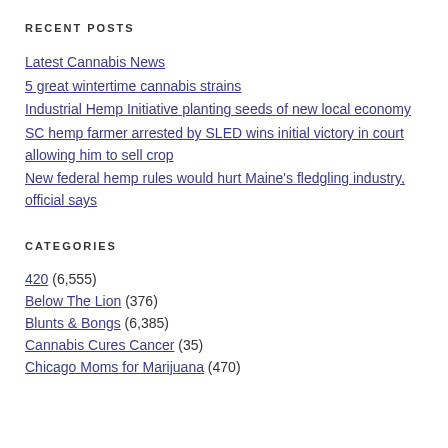RECENT POSTS
Latest Cannabis News
5 great wintertime cannabis strains
Industrial Hemp Initiative planting seeds of new local economy
SC hemp farmer arrested by SLED wins initial victory in court allowing him to sell crop
New federal hemp rules would hurt Maine's fledgling industry, official says
CATEGORIES
420 (6,555)
Below The Lion (376)
Blunts & Bongs (6,385)
Cannabis Cures Cancer (35)
Chicago Moms for Marijuana (470)